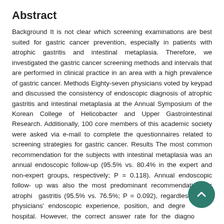Abstract
Background It is not clear which screening examinations are best suited for gastric cancer prevention, especially in patients with atrophic gastritis and intestinal metaplasia. Therefore, we investigated the gastric cancer screening methods and intervals that are performed in clinical practice in an area with a high prevalence of gastric cancer. Methods Eighty-seven physicians voted by keypad and discussed the consistency of endoscopic diagnosis of atrophic gastritis and intestinal metaplasia at the Annual Symposium of the Korean College of Helicobacter and Upper Gastrointestinal Research. Additionally, 100 core members of this academic society were asked via e-mail to complete the questionnaires related to screening strategies for gastric cancer. Results The most common recommendation for the subjects with intestinal metaplasia was an annual endoscopic follow-up (95.5% vs. 80.4% in the expert and non-expert groups, respectively; P = 0.118). Annual endoscopic follow- up was also the most predominant recommendation for atrophic gastritis (95.5% vs. 76.5%; P = 0.092), regardless of the physicians' endoscopic experience, position, and degree of the hospital. However, the correct answer rate for the diagnosis of normal endoscopic findings was only 16.7 and 14.1% in the